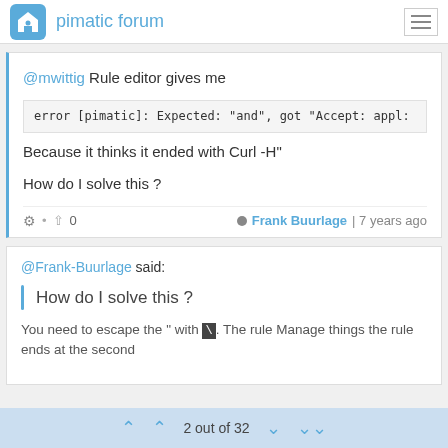pimatic forum
@mwittig Rule editor gives me

error [pimatic]: Expected: "and", got "Accept: appl:

Because it thinks it ended with Curl -H"

How do I solve this ?
Frank Buurlage | 7 years ago
@Frank-Buurlage said:

How do I solve this ?

You need to escape the " with \. The rule Manage things the rule ends at the second
2 out of 32